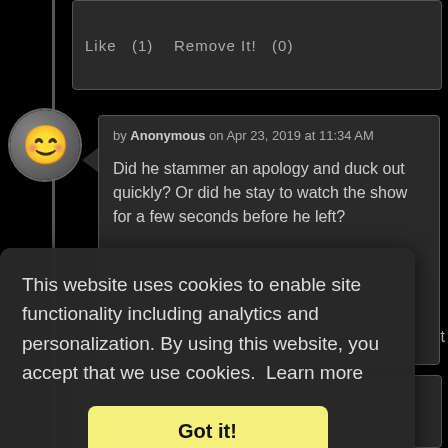Like  (1)   Remove It!  (0)
by Anonymous on Apr 23, 2019 at 11:34 AM
Did he stammer an apology and duck out quickly? Or did he stay to watch the show for a few seconds before he left?
Like  (1)   Remove It!  (0)
This website uses cookies to enable site functionality including analytics and personalization. By using this website, you accept that we use cookies.  Learn more
Got it!